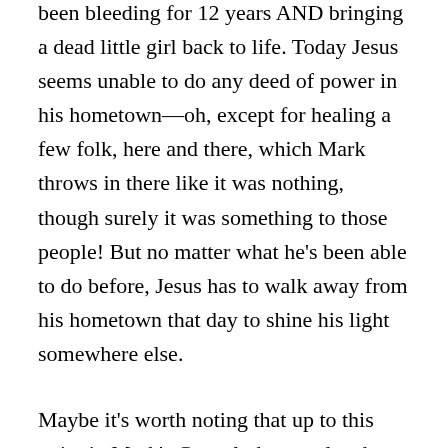Jesus was like Superman — healing a woman who had been bleeding for 12 years AND bringing a dead little girl back to life. Today Jesus seems unable to do any deed of power in his hometown—oh, except for healing a few folk, here and there, which Mark throws in there like it was nothing, though surely it was something to those people! But no matter what he's been able to do before, Jesus has to walk away from his hometown that day to shine his light somewhere else.
Maybe it's worth noting that up to this point in Mark's Gospel, the people who were healed or raised from the dead had either eagerly petitioned Jesus for help or had someone advocating fervently on their behalf. But today no one asks him to address their sufferings nor expects